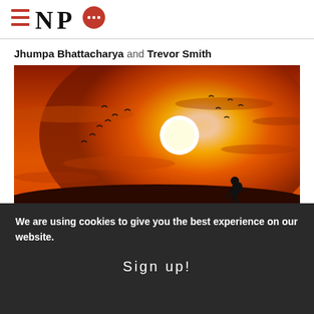[Figure (logo): NPQ logo with hamburger menu icon (three red lines) on the left and NPQ text with a red speech bubble icon containing three dots]
Jhumpa Bhattacharya and Trevor Smith
[Figure (photo): Dramatic orange-red sunset sky with birds flying in formation and a silhouette of a person walking on the horizon. A bright white sun is visible in the center of the image.]
We are using cookies to give you the best experience on our website.
Sign up!